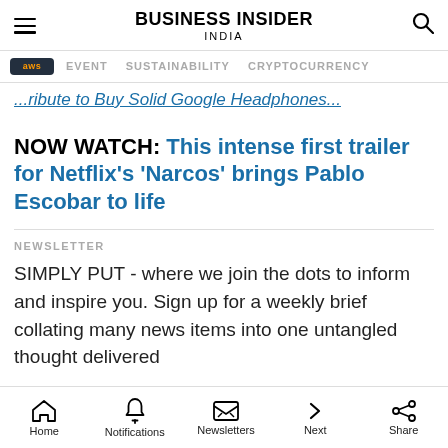BUSINESS INSIDER INDIA
EVENT   SUSTAINABILITY   CRYPTOCURRENCY
...ribute to Buy Solid Google Headphones...
NOW WATCH: This intense first trailer for Netflix's 'Narcos' brings Pablo Escobar to life
NEWSLETTER
SIMPLY PUT - where we join the dots to inform and inspire you. Sign up for a weekly brief collating many news items into one untangled thought delivered
Home   Notifications   Newsletters   Next   Share